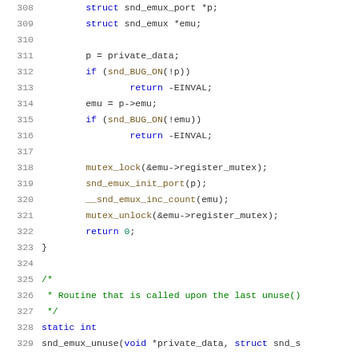[Figure (screenshot): Source code listing showing C code lines 308-329, with syntax highlighting. Line numbers in grey on left, keywords in blue, function calls and identifiers in dark yellow/brown, comments in green.]